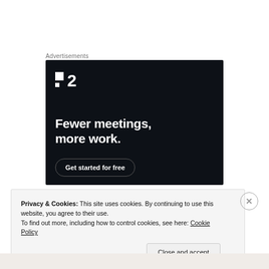Advertisements
[Figure (screenshot): Advertisement banner for a project management tool styled as dot-2. Dark navy background with white logo (two squares and '2'), large white bold text 'Fewer meetings, more work.' and a 'Get started for free' button.]
Privacy & Cookies: This site uses cookies. By continuing to use this website, you agree to their use.
To find out more, including how to control cookies, see here: Cookie Policy
Close and accept